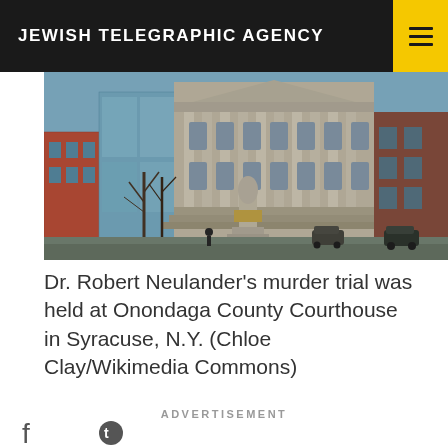JEWISH TELEGRAPHIC AGENCY
[Figure (photo): Photograph of Onondaga County Courthouse in Syracuse, N.Y., a large stone building with columns and a monument in front, trees visible, taken during winter or early spring.]
Dr. Robert Neulander's murder trial was held at Onondaga County Courthouse in Syracuse, N.Y. (Chloe Clay/Wikimedia Commons)
ADVERTISEMENT